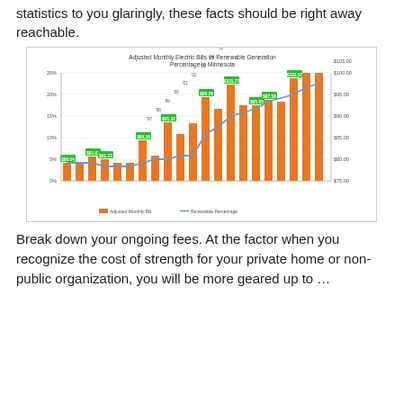statistics to you glaringly, these facts should be right away reachable.
[Figure (grouped-bar-chart): Adjusted Monthly Electric Bills vs Renewable Generation Percentage in Minnesota]
Break down your ongoing fees. At the factor when you recognize the cost of strength for your private home or non-public organization, you will be more geared up to …